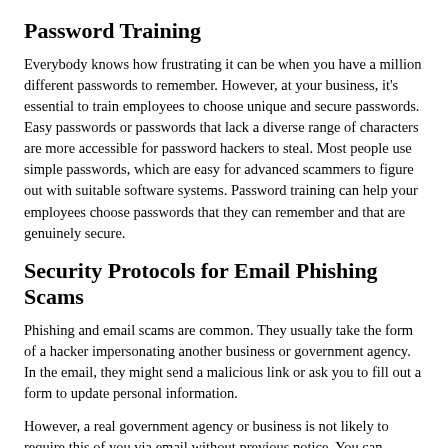Password Training
Everybody knows how frustrating it can be when you have a million different passwords to remember. However, at your business, it's essential to train employees to choose unique and secure passwords. Easy passwords or passwords that lack a diverse range of characters are more accessible for password hackers to steal. Most people use simple passwords, which are easy for advanced scammers to figure out with suitable software systems. Password training can help your employees choose passwords that they can remember and that are genuinely secure.
Security Protocols for Email Phishing Scams
Phishing and email scams are common. They usually take the form of a hacker impersonating another business or government agency. In the email, they might send a malicious link or ask you to fill out a form to update personal information.
However, a real government agency or business is not likely to require this of you via email without previous notice. You can always call any agency to inquire before proceeding, because